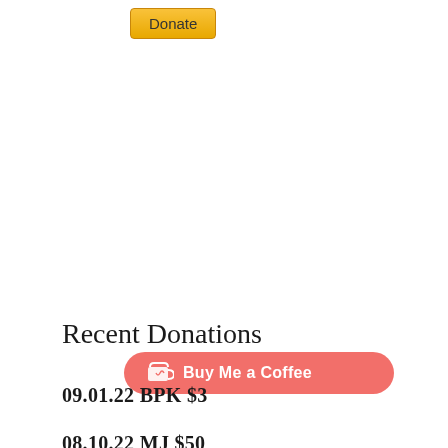[Figure (illustration): Yellow PayPal-style Donate button with rounded rectangle shape and dark text]
[Figure (illustration): Red/coral rounded pill-shaped Buy Me a Coffee button with coffee cup icon and white text]
Recent Donations
09.01.22   BPK $3
08.10.22  MJ  $50